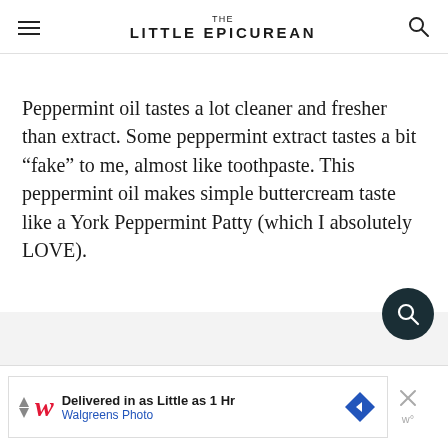THE LITTLE EPICUREAN
Peppermint oil tastes a lot cleaner and fresher than extract. Some peppermint extract tastes a bit “fake” to me, almost like toothpaste. This peppermint oil makes simple buttercream taste like a York Peppermint Patty (which I absolutely LOVE).
[Figure (screenshot): Walgreens ad banner: 'Delivered in as Little as 1 Hr' / 'Walgreens Photo' with navigation diamond icon and close button]